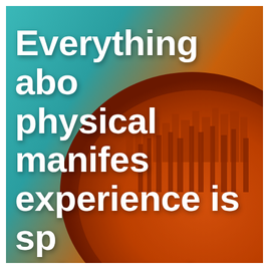[Figure (illustration): A fisheye/planet-effect aerial photo of a city skyline curving into a sphere shape, with warm orange-red tones on buildings and a teal/cyan sky gradient in the upper portion. Bold white text overlaid reads: 'Everything about physical manifestation experience is sp... It is ALL th... end product of']